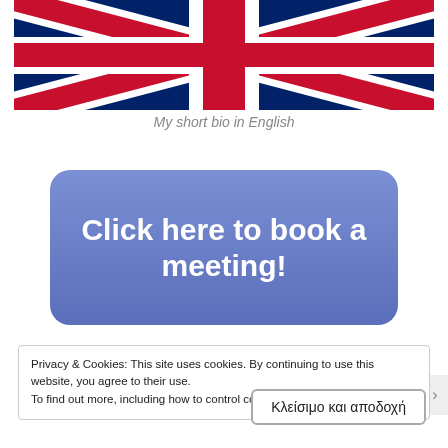[Figure (illustration): UK Union Jack flag, cropped at top showing blue, red, and white diagonal stripes]
My short bio in English
Click here to book a meeting!
Privacy & Cookies: This site uses cookies. By continuing to use this website, you agree to their use.
To find out more, including how to control cookies, see here: Cookie Policy
Κλείσιμο και αποδοχή